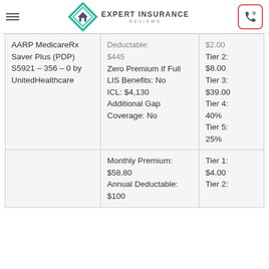Expert Insurance Reviews
| Plan | Details | Tiers |
| --- | --- | --- |
| AARP MedicareRx Saver Plus (PDP) S5921 – 356 – 0 by UnitedHealthcare | Deductable: $445
Zero Premium If Full LIS Benefits: No
ICL: $4,130
Additional Gap Coverage: No | $2.00
Tier 2: $8.00
Tier 3: $39.00
Tier 4: 40%
Tier 5: 25% |
|  | Monthly Premium: $58.80
Annual Deductable: $100 | Tier 1: $4.00
Tier 2: |